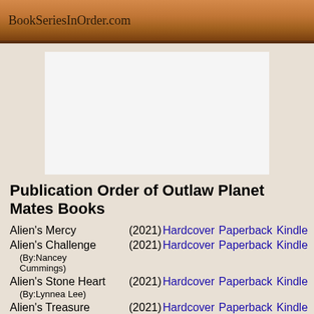BookSeriesInOrder.com
[Figure (other): Advertisement placeholder - white rectangle]
Publication Order of Outlaw Planet Mates Books
Alien's Mercy (2021) Hardcover Paperback Kindle
Alien's Challenge (2021) Hardcover Paperback Kindle (By:Nancey Cummings)
Alien's Stone Heart (2021) Hardcover Paperback Kindle (By:Lynnea Lee)
Alien's Treasure (2021) Hardcover Paperback Kindle